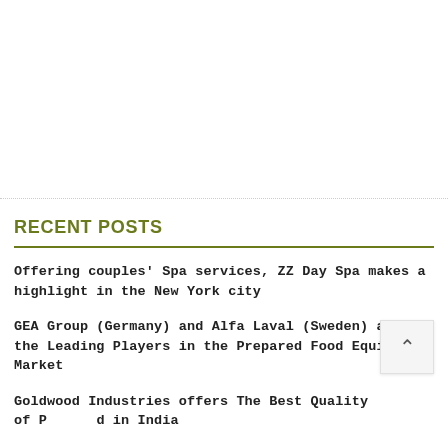RECENT POSTS
Offering couples’ Spa services, ZZ Day Spa makes a highlight in the New York city
GEA Group (Germany) and Alfa Laval (Sweden) are the Leading Players in the Prepared Food Equipment Market
Goldwood Industries offers The Best Quality of P[…]d in India